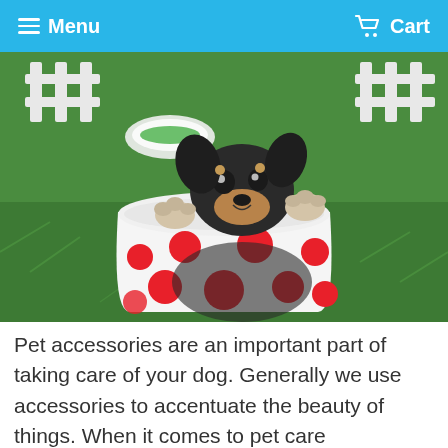Menu  Cart
[Figure (photo): A small black and tan puppy sitting inside a white cup with red polka dots, placed on green grass with a white fence in the background.]
Pet accessories are an important part of taking care of your dog. Generally we use accessories to accentuate the beauty of things. When it comes to pet care accessories are used to protect your pet from harmful elements. You can also gain a lot of satisfaction from buying accessories for you pet